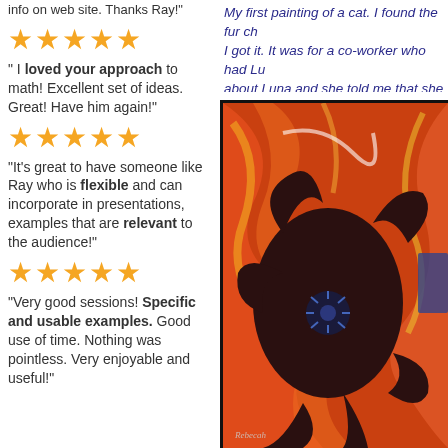info on web site. Thanks Ray!"
[Figure (infographic): Five gold stars rating]
" I loved your approach to math! Excellent set of ideas. Great! Have him again!"
[Figure (infographic): Five gold stars rating]
"It's great to have someone like Ray who is flexible and can incorporate in presentations, examples that are relevant to the audience!"
[Figure (infographic): Five gold stars rating]
"Very good sessions! Specific and usable examples. Good use of time. Nothing was pointless. Very enjoyable and useful!"
My first painting of a cat. I found the fur ch... I got it. It was for a co-worker who had Lu... about Luna and she told me that she wen...
[Figure (photo): Painting of dark poppies on red/orange background]
SOLD - 48" x 36" Dark Poppie...